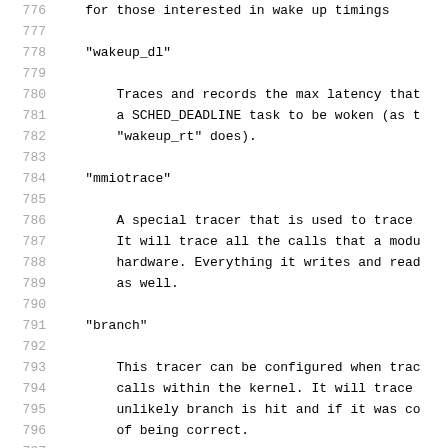776    for those interested in wake up timings
777
778    "wakeup_dl"
779
780        Traces and records the max latency that
781        a SCHED_DEADLINE task to be woken (as t
782        "wakeup_rt" does).
783
784    "mmiotrace"
785
786        A special tracer that is used to trace
787        It will trace all the calls that a modu
788        hardware. Everything it writes and read
789        as well.
790
791    "branch"
792
793        This tracer can be configured when trac
794        calls within the kernel. It will trace
795        unlikely branch is hit and if it was co
796        of being correct.
797